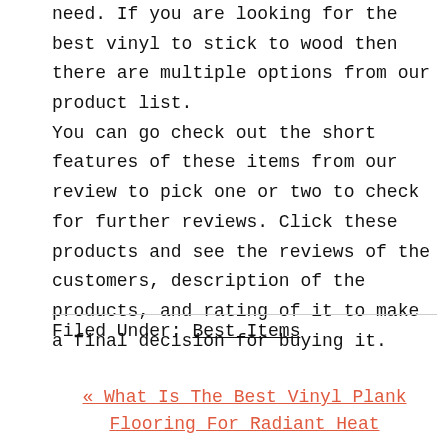need. If you are looking for the best vinyl to stick to wood then there are multiple options from our product list. You can go check out the short features of these items from our review to pick one or two to check for further reviews. Click these products and see the reviews of the customers, description of the products, and rating of it to make a final decision for buying it.
Filed Under: Best Items
« What Is The Best Vinyl Plank Flooring For Radiant Heat